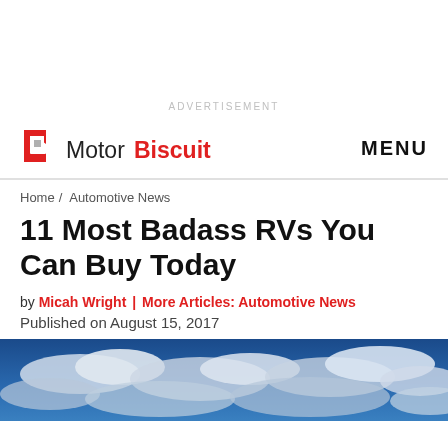ADVERTISEMENT
MotorBiscuit MENU
Home / Automotive News
11 Most Badass RVs You Can Buy Today
by Micah Wright | More Articles: Automotive News
Published on August 15, 2017
[Figure (photo): Sky with blue tones and clouds, hero image for article]